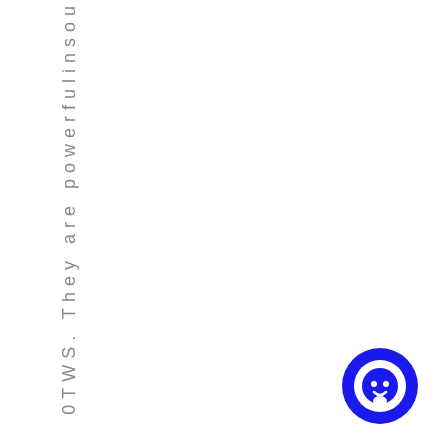0TWS. They are powerfulinsou
[Figure (illustration): Blue circle chat/messaging icon in the bottom right corner]